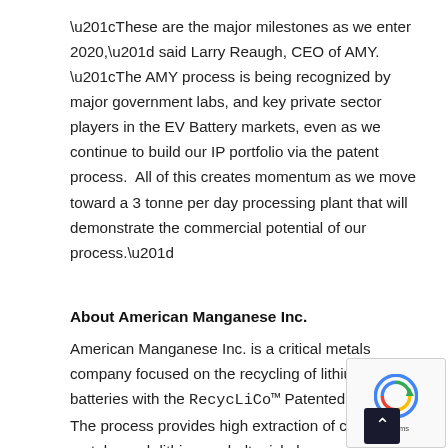“These are the major milestones as we enter 2020,” said Larry Reaugh, CEO of AMY.  “The AMY process is being recognized by major government labs, and key private sector players in the EV Battery markets, even as we continue to build our IP portfolio via the patent process.  All of this creates momentum as we move toward a 3 tonne per day processing plant that will demonstrate the commercial potential of our process.”
About American Manganese Inc.
American Manganese Inc. is a critical metals company focused on the recycling of lithium-ion batteries with the RecycLiCo™ Patented Process. The process provides high extraction of cathode metals, such lithium, cobalt, nickel, manganese, and aluminum at